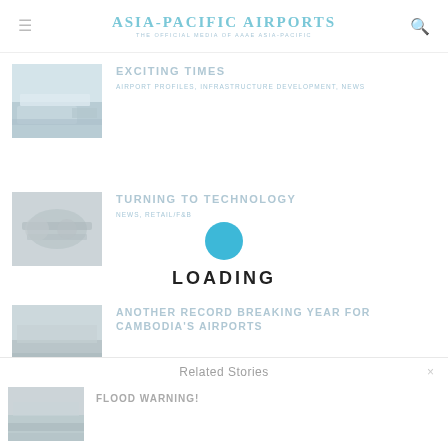Asia-Pacific Airports — The Official Media of AAAE Asia-Pacific
EXCITING TIMES
AIRPORT PROFILES, INFRASTRUCTURE DEVELOPMENT, NEWS
TURNING TO TECHNOLOGY
NEWS, RETAIL/F&B
LOADING
ANOTHER RECORD BREAKING YEAR FOR CAMBODIA'S AIRPORTS
Related Stories
FLOOD WARNING!